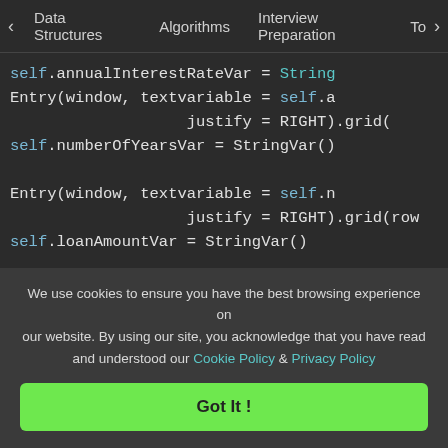< Data Structures   Algorithms   Interview Preparation   To>
self.annualInterestRateVar = String
Entry(window, textvariable = self.a
                justify = RIGHT).grid(
self.numberOfYearsVar = StringVar()

Entry(window, textvariable = self.n
                justify = RIGHT).grid(row
self.loanAmountVar = StringVar()

Entry(window, textvariable = self.l
        justify = RIGHT).grid(row = 3
self.monthlyPaymentVar = StringVar(
lblMonthlyPayment = Label(window, t
                self.monthlyPaym
                column = 2, stic
We use cookies to ensure you have the best browsing experience on our website. By using our site, you acknowledge that you have read and understood our Cookie Policy & Privacy Policy
Got It !